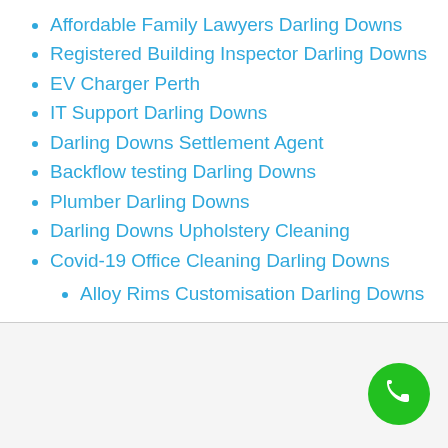Affordable Family Lawyers Darling Downs
Registered Building Inspector Darling Downs
EV Charger Perth
IT Support Darling Downs
Darling Downs Settlement Agent
Backflow testing Darling Downs
Plumber Darling Downs
Darling Downs Upholstery Cleaning
Covid-19 Office Cleaning Darling Downs
Alloy Rims Customisation Darling Downs
[Figure (illustration): Green circular phone call button with white phone handset icon]
SHIRE OF SERPENTINE